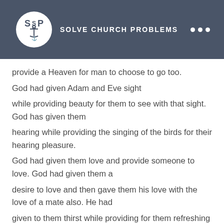[Figure (logo): Solve Church Problems logo: white circle with SCP text and anchor icon, beside text SOLVE CHURCH PROBLEMS on dark gray background with three white dots]
provide a Heaven for man to choose to go too.
God had given Adam and Eve sight
while providing beauty for them to see with that sight. God has given them
hearing while providing the singing of the birds for their hearing pleasure.
God had given them love and provide someone to love. God had given them a
desire to love and then gave them his love with the love of a mate also. He had
given to them thirst while providing for them refreshing